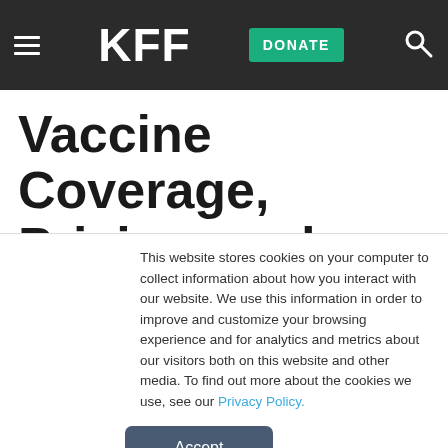KFF | DONATE
Vaccine Coverage, Pricing, and Reimbursement in the U.S.
This website stores cookies on your computer to collect information about how you interact with our website. We use this information in order to improve and customize your browsing experience and for analytics and metrics about our visitors both on this website and other media. To find out more about the cookies we use, see our Privacy Policy.
Accept